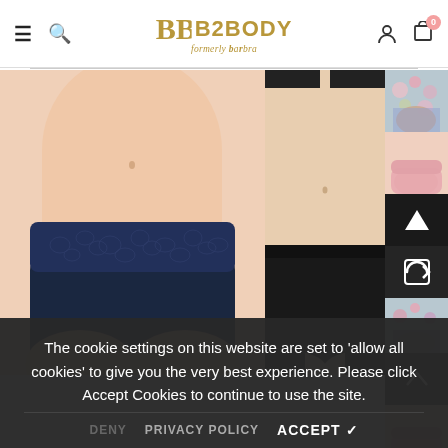B2BODY formerly Elegance by Barbra — navigation header with hamburger, search, logo, user, and cart icons
[Figure (photo): Woman wearing a navy blue lace-trim hipster/cheeky brief underwear, torso shot on white/light background]
[Figure (photo): Woman wearing a black full-coverage high-waist brief underwear, torso shot on light background]
[Figure (photo): Thumbnail strip showing: floral print brief, pink brief, black brief with navigation arrows up and rotate, floral brief, pink brief]
The cookie settings on this website are set to 'allow all cookies' to give you the very best experience. Please click Accept Cookies to continue to use the site.
DENY   PRIVACY POLICY   ACCEPT ✓